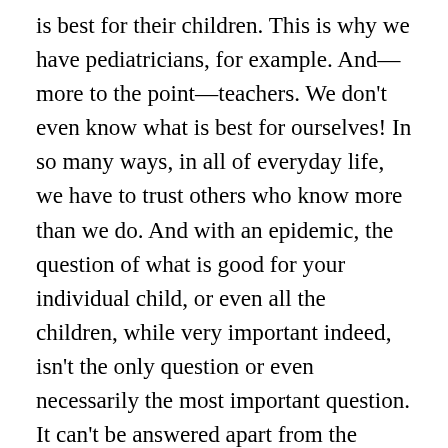is best for their children. This is why we have pediatricians, for example. And—more to the point—teachers. We don't even know what is best for ourselves! In so many ways, in all of everyday life, we have to trust others who know more than we do. And with an epidemic, the question of what is good for your individual child, or even all the children, while very important indeed, isn't the only question or even necessarily the most important question. It can't be answered apart from the question of what is good for the whole community, including the people who are aged, infirm, with immune systems suppressed because of other illnesses, and you are not qualified, individually, to answer that question, any more than you are qualified to predict the weather